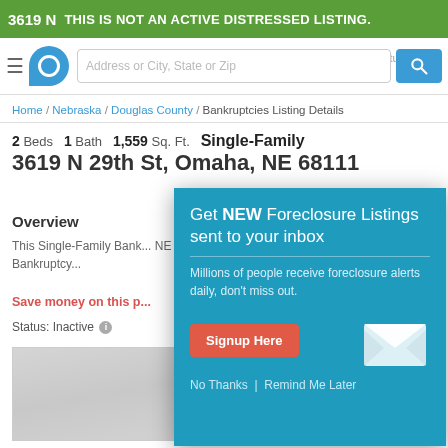3619 N  THIS IS NOT AN ACTIVE DISTRESSED LISTING.
[Figure (screenshot): Navigation bar with hamburger menu, home logo, search input 'Address or City, State or Zip', and blue search button]
Home / Nebraska / Douglas County / Bankruptcies Listing Details
2 Beds  1 Bath  1,559 Sq. Ft.  Single-Family
3619 N 29th St, Omaha, NE 68111
Overview
This Single-Family Ban... NE 68111. It has 2 Be... property is Bankruptcy...
Save money on this ...
Status: Inactive
[Figure (infographic): Popup modal overlay: 'Get NEW Foreclosure Listings sent to your inbox. Millions of people receive foreclosure alerts daily, don't miss out. Signup Here button. No Thanks | Remind Me Later links. Envelope icon graphic.']